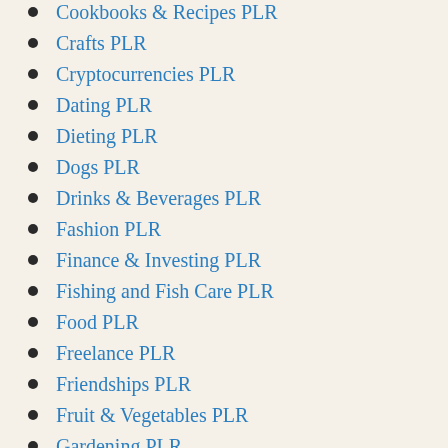Cookbooks & Recipes PLR
Crafts PLR
Cryptocurrencies PLR
Dating PLR
Dieting PLR
Dogs PLR
Drinks & Beverages PLR
Fashion PLR
Finance & Investing PLR
Fishing and Fish Care PLR
Food PLR
Freelance PLR
Friendships PLR
Fruit & Vegetables PLR
Gardening PLR
Goal Setting PLR